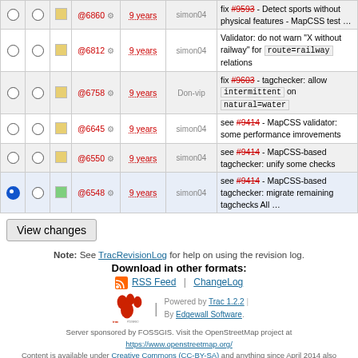|  |  |  | Rev | Age | Author | Log Message |
| --- | --- | --- | --- | --- | --- | --- |
| ○ | ○ | □ | @6860 ⚙ | 9 years | simon04 | fix #9593 - Detect sports without physical features - MapCSS test … |
| ○ | ○ | □ | @6812 ⚙ | 9 years | simon04 | Validator: do not warn "X without railway" for route=railway relations |
| ○ | ○ | □ | @6758 ⚙ | 9 years | Don-vip | fix #9603 - tagchecker: allow intermittent on natural=water |
| ○ | ○ | □ | @6645 ⚙ | 9 years | simon04 | see #9414 - MapCSS validator: some performance imrovements |
| ○ | ○ | □ | @6550 ⚙ | 9 years | simon04 | see #9414 - MapCSS-based tagchecker: unify some checks |
| ● | ○ | □ | @6548 ⚙ | 9 years | simon04 | see #9414 - MapCSS-based tagchecker: migrate remaining tagchecks All … |
View changes
Note: See TracRevisionLog for help on using the revision log.
Download in other formats:
RSS Feed | ChangeLog
Powered by Trac 1.2.2 | By Edgewall Software.
Server sponsored by FOSSGIS. Visit the OpenStreetMap project at https://www.openstreetmap.org/
Content is available under Creative Commons (CC-BY-SA) and anything since April 2014 also under LGPL license.